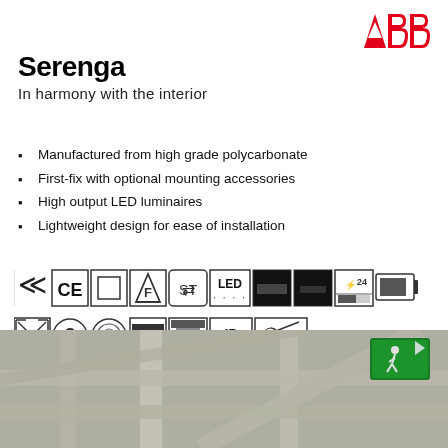[Figure (logo): ABB logo - red letters ABB on white background]
Serenga
In harmony with the interior
Manufactured from high grade polycarbonate
First-fix with optional mounting accessories
High output LED luminaires
Lightweight design for ease of installation
[Figure (infographic): Row of technical certification and specification icons: BS8300, CE mark, square (surface mount), F mark, self-test symbol, LED indicator, black panel (maintained), black panel (non-maintained), 24hr battery icon, slim battery icon. Second row: expansion arrows, 3-hour duration, circular photometric, T-bar mount, recessed mount, IP42 rating, 20-degree beam angle icon.]
[Figure (photo): Interior ceiling photo showing metal grid ceiling structure with a green emergency exit sign visible in the upper right corner.]